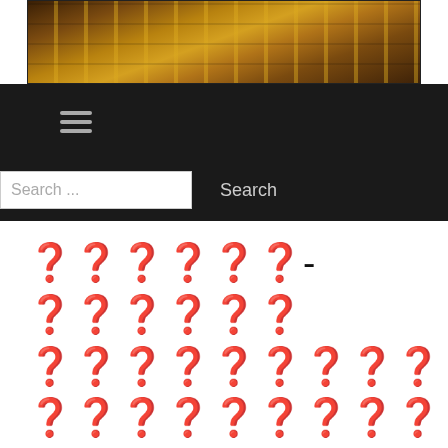[Figure (photo): A photo of wooden planks or a road with yellow markings, warm brown/amber tones, cropped to show texture and lines.]
[Figure (screenshot): Dark navigation bar with hamburger menu icon (three horizontal lines) and a search bar with 'Search ...' placeholder and 'Search' button, on black background.]
Tofu symbols/replacement characters arranged in lines resembling corrupted or missing Unicode text, followed by a row of boxed question mark characters separated by pipe symbols.